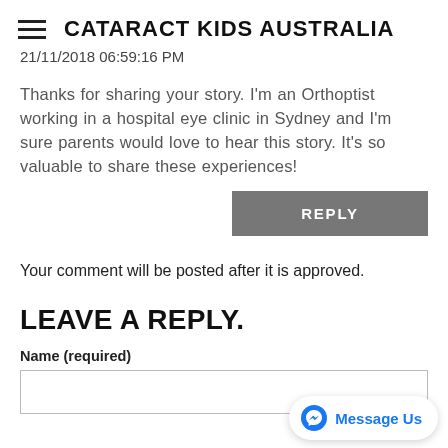CATARACT KIDS AUSTRALIA
21/11/2018 06:59:16 PM
Thanks for sharing your story. I'm an Orthoptist working in a hospital eye clinic in Sydney and I'm sure parents would love to hear this story. It's so valuable to share these experiences!
REPLY
Your comment will be posted after it is approved.
LEAVE A REPLY.
Name (required)